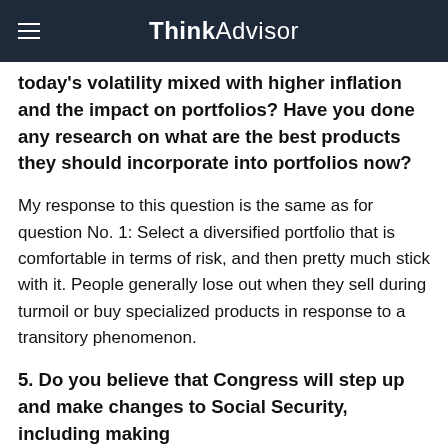ThinkAdvisor
today's volatility mixed with higher inflation and the impact on portfolios? Have you done any research on what are the best products they should incorporate into portfolios now?
My response to this question is the same as for question No. 1: Select a diversified portfolio that is comfortable in terms of risk, and then pretty much stick with it. People generally lose out when they sell during turmoil or buy specialized products in response to a transitory phenomenon.
5. Do you believe that Congress will step up and make changes to Social Security, including making